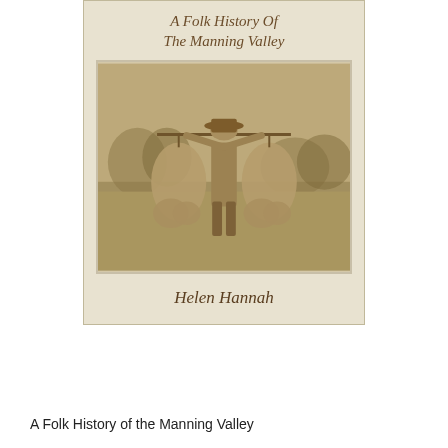[Figure (photo): Book cover showing a sepia-toned vintage photograph of a person standing in a field holding game animals (large rabbits or wallabies) suspended from a pole across their shoulders. The cover has a cream/beige background. The title text on the cover reads 'A Folk History Of The Manning Valley' in italic serif font, and the author name 'Helen Hannah' appears below the photograph.]
A Folk History of the Manning Valley